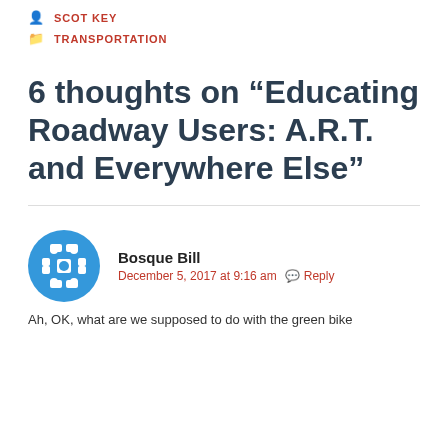SCOT KEY
TRANSPORTATION
6 thoughts on “Educating Roadway Users: A.R.T. and Everywhere Else”
Bosque Bill
December 5, 2017 at 9:16 am  Reply
Ah, OK, what are we supposed to do with the green bike